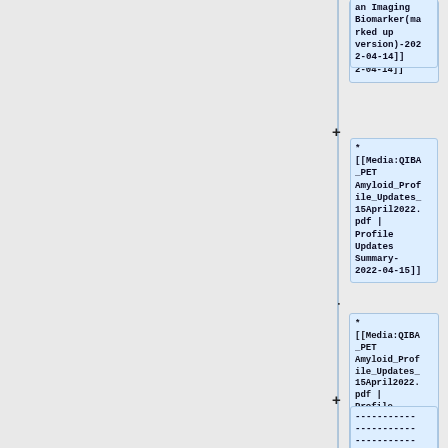* [[Media:Amyloid as an Imaging Biomarker(marked up version)-2022-04-14]]
* [[Media:QIBA_PET Amyloid_Profile_Updates_15April2022.pdf | Profile Updates Summary-2022-04-15]]
* ------------------------------------